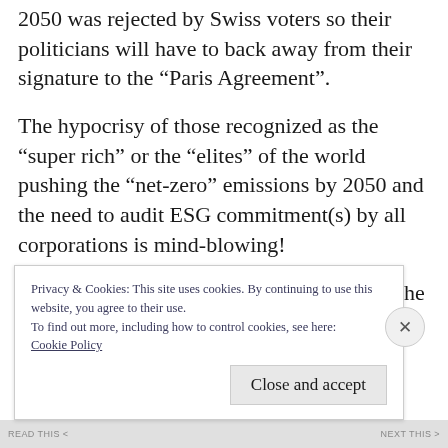2050 was rejected by Swiss voters so their politicians will have to back away from their signature to the “Paris Agreement”.
The hypocrisy of those recognized as the “super rich” or the “elites” of the world pushing the “net-zero” emissions by 2050 and the need to audit ESG commitment(s) by all corporations is mind-blowing!
The foregoing was recently highlighted by the
Privacy & Cookies: This site uses cookies. By continuing to use this website, you agree to their use.
To find out more, including how to control cookies, see here: Cookie Policy
Close and accept